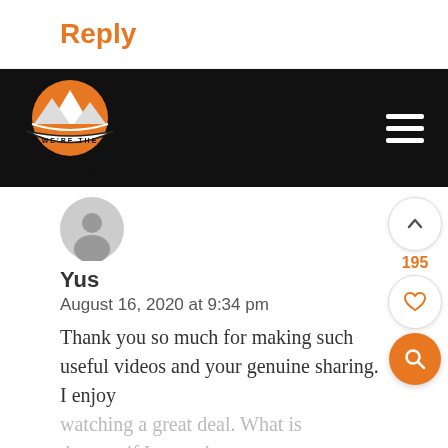Reply
[Figure (logo): We're The Russos logo — orange mountain/sun circle with mountain silhouette and cursive/script text]
Yus
August 16, 2020 at 9:34 pm
Thank you so much for making such useful videos and your genuine sharing. I enjoy watching a great deal. What is the cost if I want the exact…